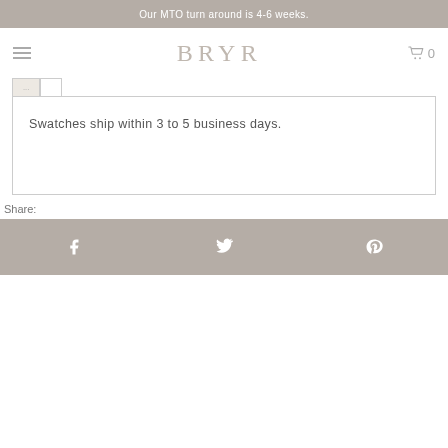Our MTO turn around is 4-6 weeks.
BRYR
Swatches ship within 3 to 5 business days.
Share:
Facebook, Twitter, Pinterest share icons